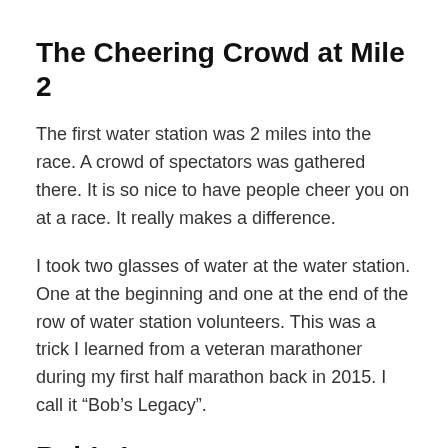The Cheering Crowd at Mile 2
The first water station was 2 miles into the race. A crowd of spectators was gathered there. It is so nice to have people cheer you on at a race. It really makes a difference.
I took two glasses of water at the water station. One at the beginning and one at the end of the row of water station volunteers. This was a trick I learned from a veteran marathoner during my first half marathon back in 2015. I call it “Bob’s Legacy”.
Bob’s Legacy